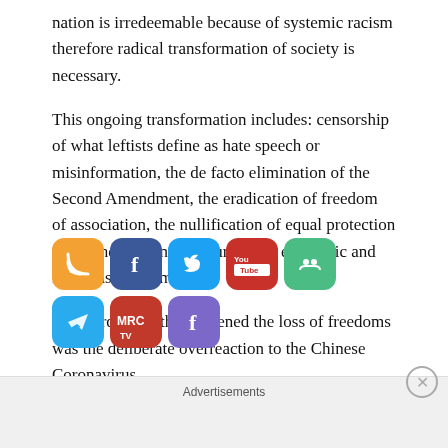nation is irredeemable because of systemic racism therefore radical transformation of society is necessary.
This ongoing transformation includes: censorship of what leftists define as hate speech or misinformation, the de facto elimination of the Second Amendment, the eradication of freedom of association, the nullification of equal protection under the law, and the purging of economic and religious freedom.
[Figure (infographic): Social media sharing icons: RSS (orange), Facebook (blue), Twitter (light blue), YouTube (red), MeWe (green), Telegram (blue), MRC (red), Facebook alternate (purple)]
The third event that hastened the loss of freedoms was the deliberate overreaction to the Chinese Coronavirus
Advertisements